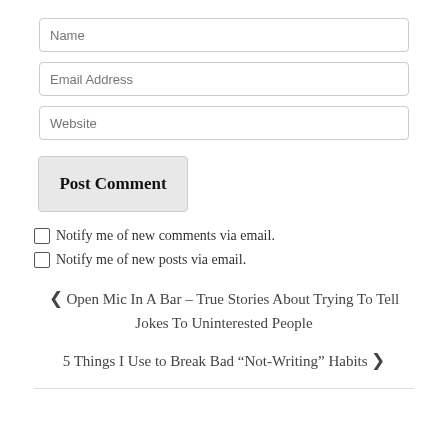Name
Email Address
Website
Post Comment
Notify me of new comments via email.
Notify me of new posts via email.
❮ Open Mic In A Bar – True Stories About Trying To Tell Jokes To Uninterested People
5 Things I Use to Break Bad “Not-Writing” Habits ❯